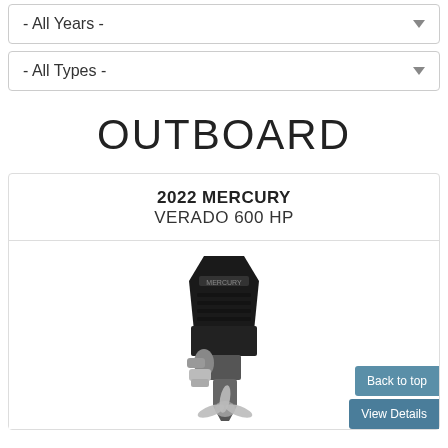- All Years -
- All Types -
OUTBOARD
2022 MERCURY
VERADO 600 HP
[Figure (photo): Mercury Verado 600 HP outboard motor, black cowling with silver lower unit and propeller, shown on white background]
Back to top
View Details